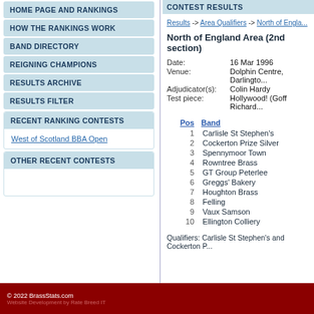HOME PAGE AND RANKINGS
HOW THE RANKINGS WORK
BAND DIRECTORY
REIGNING CHAMPIONS
RESULTS ARCHIVE
RESULTS FILTER
RECENT RANKING CONTESTS
West of Scotland BBA Open
OTHER RECENT CONTESTS
CONTEST RESULTS
Results -> Area Qualifiers -> North of England Area
North of England Area (2nd section)
Date: 16 Mar 1996
Venue: Dolphin Centre, Darlington
Adjudicator(s): Colin Hardy
Test piece: Hollywood! (Goff Richards)
| Pos | Band |
| --- | --- |
| 1 | Carlisle St Stephen's |
| 2 | Cockerton Prize Silver |
| 3 | Spennymoor Town |
| 4 | Rowntree Brass |
| 5 | GT Group Peterlee |
| 6 | Greggs' Bakery |
| 7 | Houghton Brass |
| 8 | Felling |
| 9 | Vaux Samson |
| 10 | Ellington Colliery |
Qualifiers: Carlisle St Stephen's and Cockerton Prize Silver
© 2022 BrassStats.com
Website Development by Rate Breed IT